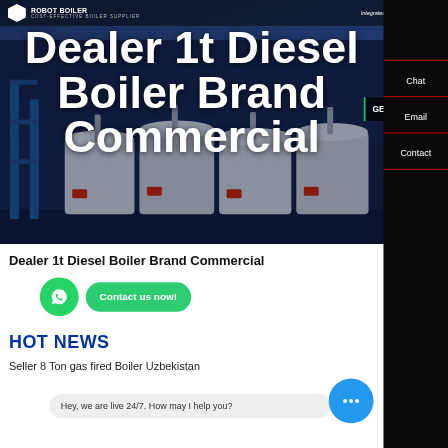[Figure (screenshot): Website screenshot of a boiler supplier page. Hero section with large white bold text 'Dealer 1t Diesel Boiler Brand Commercial' overlaid on a dark blue industrial background showing boilers. Navigation bar at top with logo and menu. Right sidebar with Chat, Email, Contact items. Below hero: page title, WhatsApp contact button, HOT NEWS section, chat widget, and text beginning 'Seller 8 Ton gas fired Boiler Uzbekistan'.]